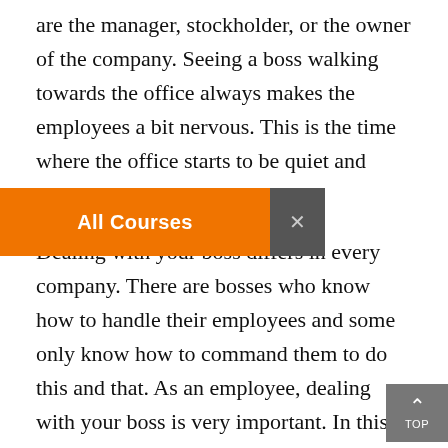are the manager, stockholder, or the owner of the company. Seeing a boss walking towards the office always makes the employees a bit nervous. This is the time where the office starts to be quiet and everyone is acting busy.
Dealing with your boss differs in every company. There are bosses who know how to handle their employees and some only know how to command them to do this and that. As an employee, dealing with your boss is very important. In this article, I'll be sharing some tips on how to deal with your boss.
Respect – As an employee, it must be obvious that you must respect your boss. Even if the boss is already angry, never ever shout back if you love your job. If you want to